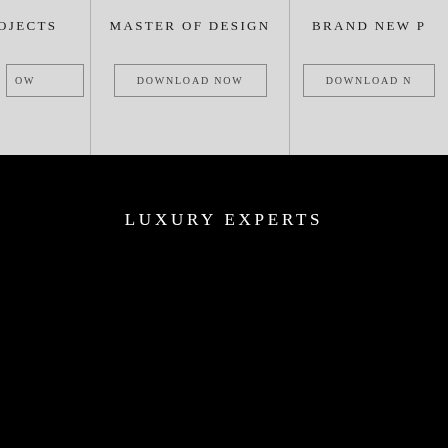OJECTS
OW
MASTER OF DESIGN
DOWNLOAD NOW
BRAND NEW P
DOWNLOAD N
LUXURY EXPERTS